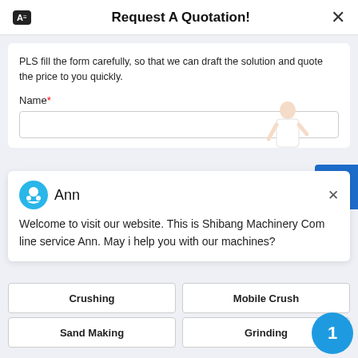Request A Quotation!
PLS fill the form carefully, so that we can draft the solution and quote the price to you quickly.
Name*
Ann
Welcome to visit our website. This is Shibang Machinery Com line service Ann. May i help you with our machines?
Crushing
Mobile Crush
Sand Making
Grinding
Capacity*
>50 TPH
>30 TPH